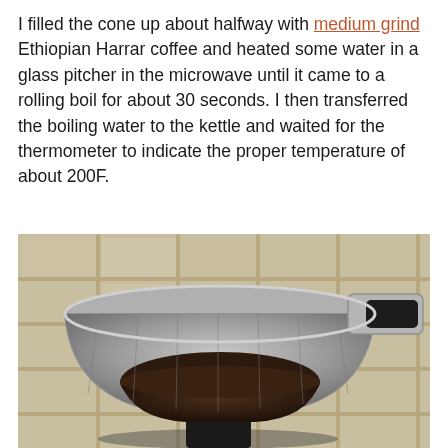I filled the cone up about halfway with medium grind Ethiopian Harrar coffee and heated some water in a glass pitcher in the microwave until it came to a rolling boil for about 30 seconds. I then transferred the boiling water to the kettle and waited for the thermometer to indicate the proper temperature of about 200F.
[Figure (photo): A metal mesh pour-over coffee cone filter filled with ground coffee, sitting on a countertop with white ceramic tiles in the background. The stainless steel cone has a black handle visible on the right side.]